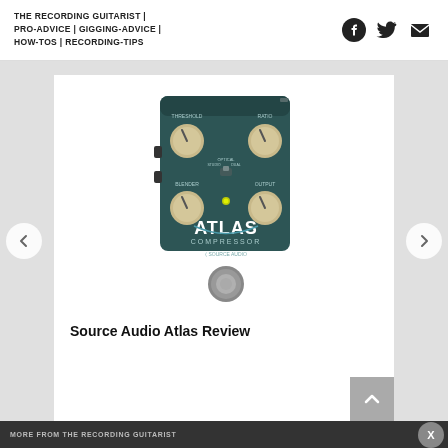THE RECORDING GUITARIST | PRO-ADVICE | GIGGING-ADVICE | HOW-TOS | RECORDING-TIPS
[Figure (photo): Source Audio Atlas Compressor guitar pedal, dark teal/green color with four cream-colored knobs labeled THRESHOLD, RATIO, BLENDER, OUTPUT, a switch labeled OPTICAL/STUDIO/DUAL, a yellow LED indicator, and a footswitch. The Atlas Compressor branding is displayed on the front panel along with the Source Audio logo.]
Source Audio Atlas Review
X